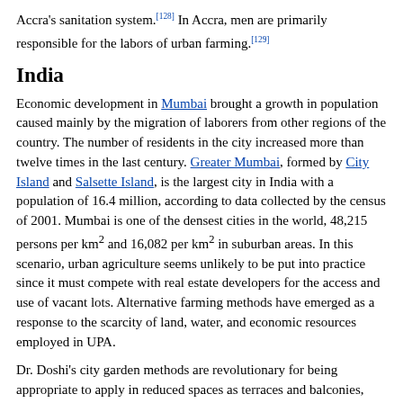Accra's sanitation system.[128] In Accra, men are primarily responsible for the labors of urban farming.[129]
India
Economic development in Mumbai brought a growth in population caused mainly by the migration of laborers from other regions of the country. The number of residents in the city increased more than twelve times in the last century. Greater Mumbai, formed by City Island and Salsette Island, is the largest city in India with a population of 16.4 million, according to data collected by the census of 2001. Mumbai is one of the densest cities in the world, 48,215 persons per km² and 16,082 per km² in suburban areas. In this scenario, urban agriculture seems unlikely to be put into practice since it must compete with real estate developers for the access and use of vacant lots. Alternative farming methods have emerged as a response to the scarcity of land, water, and economic resources employed in UPA.
Dr. Doshi's city garden methods are revolutionary for being appropriate to apply in reduced spaces as terraces and balconies, even on civil construction walls, and for not requiring big investments in capital or long hours of work. His farming practice is purely organic and is mainly directed to domestic consumption. His techniques have proven very safe for pesticide availability in the